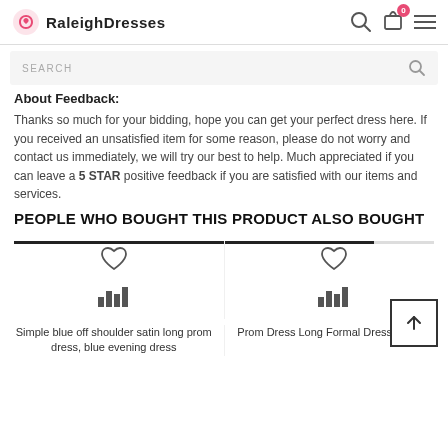RaleighDresses
SEARCH
About Feedback:
Thanks so much for your bidding, hope you can get your perfect dress here. If you received an unsatisfied item for some reason, please do not worry and contact us immediately, we will try our best to help. Much appreciated if you can leave a 5 STAR positive feedback if you are satisfied with our items and services.
PEOPLE WHO BOUGHT THIS PRODUCT ALSO BOUGHT
[Figure (other): Product card: Simple blue off shoulder satin long prom dress, blue evening dress. Heart icon and bar chart icon shown.]
[Figure (other): Product card: Prom Dress Long Formal Dresses 2023. Heart icon and bar chart icon shown.]
Simple blue off shoulder satin long prom dress, blue evening dress
Prom Dress Long Formal Dresses 2023